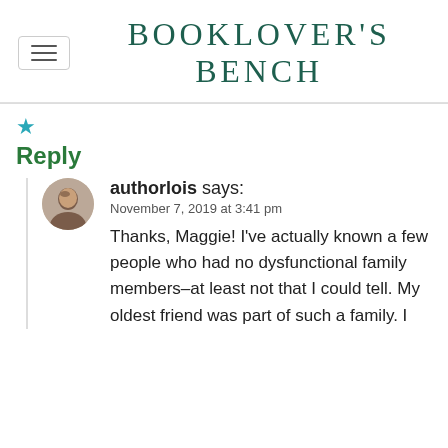BOOKLOVER'S BENCH
Reply
authorlois says:
November 7, 2019 at 3:41 pm
Thanks, Maggie! I've actually known a few people who had no dysfunctional family members–at least not that I could tell. My oldest friend was part of such a family. I